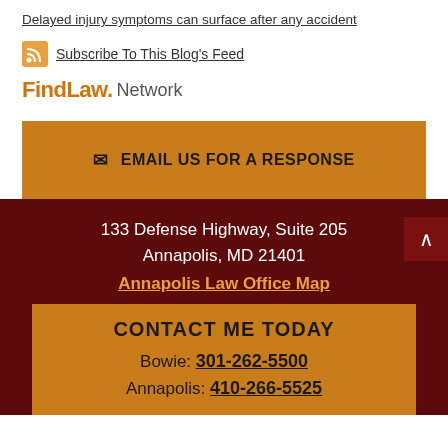Delayed injury symptoms can surface after any accident
Subscribe To This Blog's Feed
[Figure (logo): FindLaw Network logo with orange FindLaw text and grey Network text]
EMAIL US FOR A RESPONSE
133 Defense Highway, Suite 205
Annapolis, MD 21401
Annapolis Law Office Map
CONTACT ME TODAY
Bowie: 301-262-5500
Annapolis: 410-266-5525